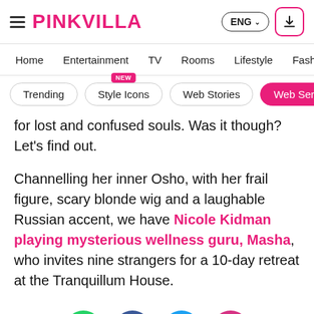PINKVILLA
Home | Entertainment | TV | Rooms | Lifestyle | Fashi…
Trending | Style Icons (NEW) | Web Stories | Web Series
for lost and confused souls. Was it though? Let's find out.
Channelling her inner Osho, with her frail figure, scary blonde wig and a laughable Russian accent, we have Nicole Kidman playing mysterious wellness guru, Masha, who invites nine strangers for a 10-day retreat at the Tranquillum House.
[Figure (infographic): Social sharing icons row: WhatsApp (green), Facebook (dark blue), Twitter (light blue), Chat/comment (pink)]